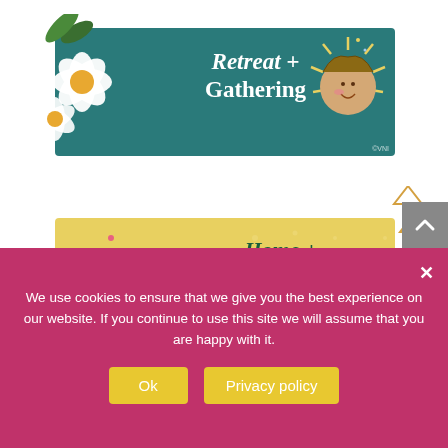[Figure (illustration): Teal/green banner with white flowers on left, illustrated sun figure on right, text 'Retreat + Gathering' in white italic/bold font]
[Figure (illustration): Yellow banner with yellow flower on left, triangle decorations on right, text 'Home + Studio Tours' in dark green italic font]
We use cookies to ensure that we give you the best experience on our website. If you continue to use this site we will assume that you are happy with it.
Ok  Privacy policy